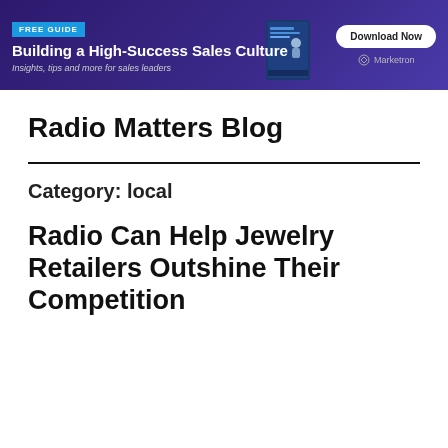[Figure (infographic): Banner advertisement for Marketron free guide: 'Building a High-Success Sales Culture — Insights, tips and more for sales leaders' with a Download Now button and Marketron logo]
Radio Matters Blog
Category: local
Radio Can Help Jewelry Retailers Outshine Their Competition